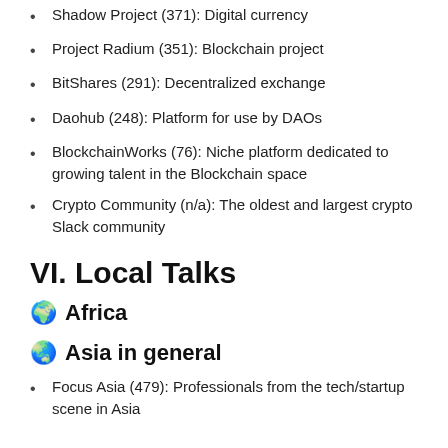Shadow Project (371): Digital currency
Project Radium (351): Blockchain project
BitShares (291): Decentralized exchange
Daohub (248): Platform for use by DAOs
BlockchainWorks (76): Niche platform dedicated to growing talent in the Blockchain space
Crypto Community (n/a): The oldest and largest crypto Slack community
VI. Local Talks
🌍 Africa
🌏 Asia in general
Focus Asia (479): Professionals from the tech/startup scene in Asia